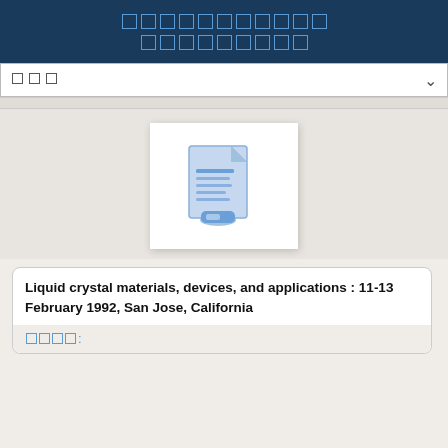[Header with stylized character blocks in two rows]
□□□ (search dropdown)
[Figure (illustration): Document icon showing a stylized file with text lines and a floppy disk, in blue tones on white background card]
Liquid crystal materials, devices, and applications : 11-13 February 1992, San Jose, California
□□□□: